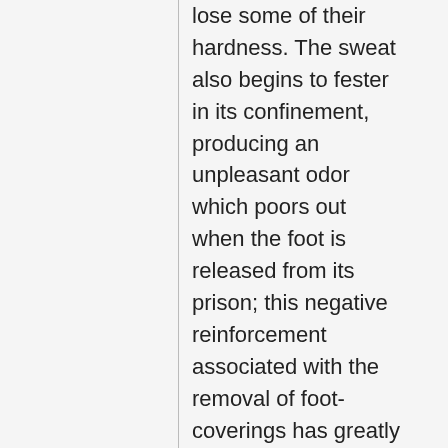lose some of their hardness. The sweat also begins to fester in its confinement, producing an unpleasant odor which poors out when the foot is released from its prison; this negative reinforcement associated with the removal of foot-coverings has greatly aided in the socks' efforts